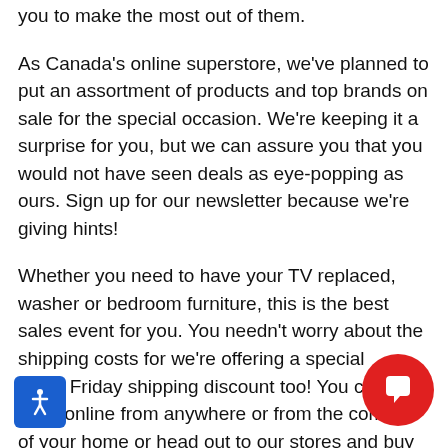you to make the most out of them.
As Canada's online superstore, we've planned to put an assortment of products and top brands on sale for the special occasion. We're keeping it a surprise for you, but we can assure you that you would not have seen deals as eye-popping as ours. Sign up for our newsletter because we're giving hints!
Whether you need to have your TV replaced, washer or bedroom furniture, this is the best sales event for you. You needn't worry about the shipping costs for we're offering a special Black Friday shipping discount too! You can shop online from anywhere or from the comfort of your home or head out to our stores and buy what you ne...